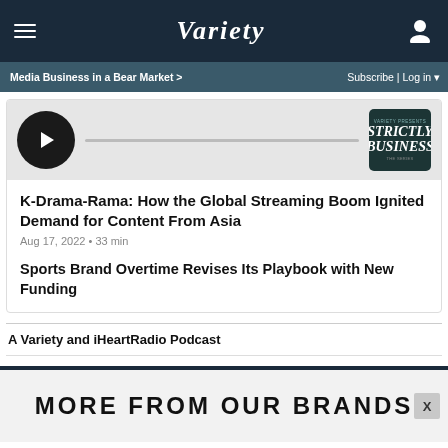VARIETY
Media Business in a Bear Market >
Subscribe | Log in
[Figure (screenshot): Podcast player card with play button, progress bar, and Strictly Business podcast thumbnail]
K-Drama-Rama: How the Global Streaming Boom Ignited Demand for Content From Asia
Aug 17, 2022 • 33 min
Sports Brand Overtime Revises Its Playbook with New Funding
A Variety and iHeartRadio Podcast
MORE FROM OUR BRANDS